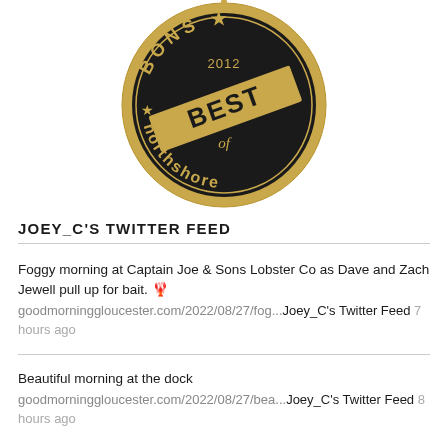[Figure (logo): Best of Northshore 2012 gold badge/seal with serrated edge, dark background with gold text reading BONS, 2012, BEST, of, northshore]
JOEY_C'S TWITTER FEED
Foggy morning at Captain Joe & Sons Lobster Co as Dave and Zach Jewell pull up for bait. 🦞
goodmorninggloucester.com/2022/08/27/fog...Joey_C's Twitter Feed 7 hours ago
Beautiful morning at the dock
goodmorninggloucester.com/2022/08/27/bea...Joey_C's Twitter Feed 8 hours ago